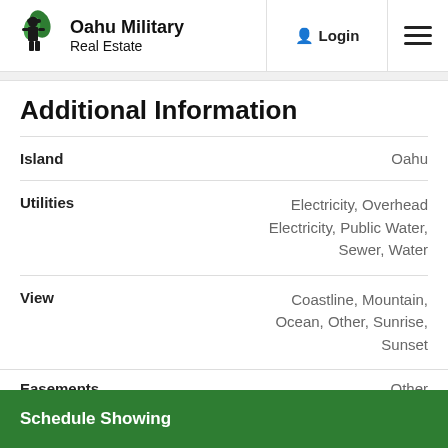Oahu Military Real Estate | Login | Menu
Additional Information
| Field | Value |
| --- | --- |
| Island | Oahu |
| Utilities | Electricity, Overhead Electricity, Public Water, Sewer, Water |
| View | Coastline, Mountain, Ocean, Other, Sunrise, Sunset |
| Easements | Other |
Schedule Showing